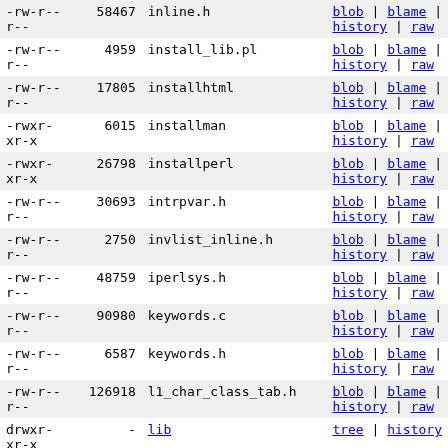| permissions | size | name | links |
| --- | --- | --- | --- |
| -rw-r--r-- | 58467 | inline.h | blob | blame | history | raw |
| -rw-r--r-- | 4959 | install_lib.pl | blob | blame | history | raw |
| -rw-r--r-- | 17805 | installhtml | blob | blame | history | raw |
| -rwxr-xr-x | 6015 | installman | blob | blame | history | raw |
| -rwxr-xr-x | 26798 | installperl | blob | blame | history | raw |
| -rw-r--r-- | 30693 | intrpvar.h | blob | blame | history | raw |
| -rw-r--r-- | 2750 | invlist_inline.h | blob | blame | history | raw |
| -rw-r--r-- | 48759 | iperlsys.h | blob | blame | history | raw |
| -rw-r--r-- | 90980 | keywords.c | blob | blame | history | raw |
| -rw-r--r-- | 6587 | keywords.h | blob | blame | history | raw |
| -rw-r--r-- | 126918 | l1_char_class_tab.h | blob | blame | history | raw |
| drwxr-xr-x | - | lib | tree | history |
| -rw-r--r-- | 195047 | locale.c | blob | blame | history | raw |
| -rw-r--r-- | 26137 | make_ext.pl | blob | blame | history | raw |